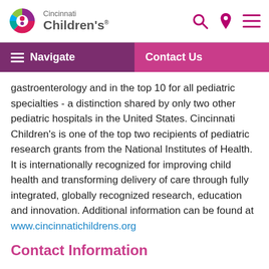Cincinnati Children's
Navigate | Contact Us
gastroenterology and in the top 10 for all pediatric specialties - a distinction shared by only two other pediatric hospitals in the United States. Cincinnati Children's is one of the top two recipients of pediatric research grants from the National Institutes of Health. It is internationally recognized for improving child health and transforming delivery of care through fully integrated, globally recognized research, education and innovation. Additional information can be found at www.cincinnatichildrens.org
Contact Information